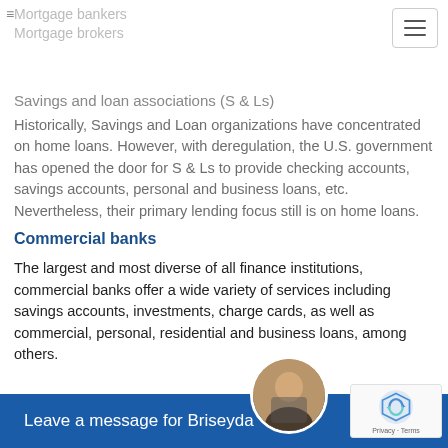Mortgage bankers
Mortgage brokers
Savings and loan associations (S & Ls)
Historically, Savings and Loan organizations have concentrated on home loans. However, with deregulation, the U.S. government has opened the door for S & Ls to provide checking accounts, savings accounts, personal and business loans, etc. Nevertheless, their primary lending focus still is on home loans.
Commercial banks
The largest and most diverse of all finance institutions, commercial banks offer a wide variety of services including savings accounts, investments, charge cards, as well as commercial, personal, residential and business loans, among others.
Mortgage bankers
Mortgage bankers typically use their own money to fund mortgages; however they ultimately sell the loans to another party such as a bank, a